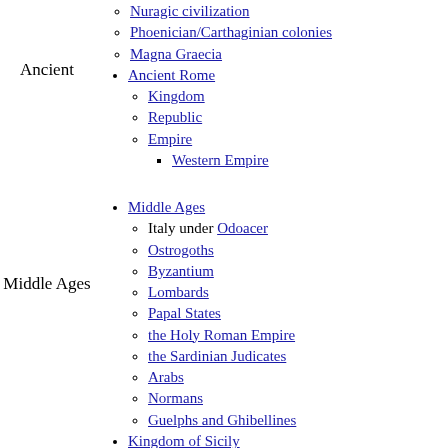Ancient
Nuragic civilization
Phoenician/Carthaginian colonies
Magna Graecia
Ancient Rome
Kingdom
Republic
Empire
Western Empire
Middle Ages
Middle Ages
Italy under Odoacer
Ostrogoths
Byzantium
Lombards
Papal States
the Holy Roman Empire
the Sardinian Judicates
Arabs
Normans
Guelphs and Ghibellines
Kingdom of Sicily
War of the Sicilian Vespers
Kingdom of Naples